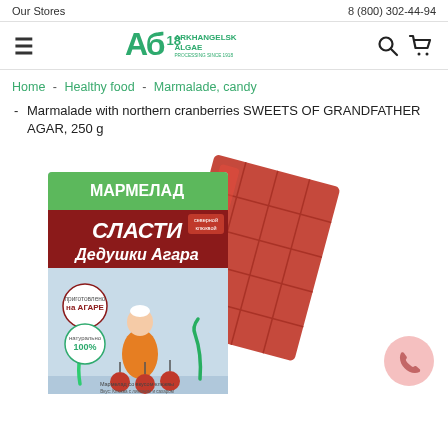Our Stores   8 (800) 302-44-94
[Figure (logo): Arkhangelsk Algae Processing Since 1918 logo with stylized AB letters in green]
Home - Healthy food - Marmalade, candy
- Marmalade with northern cranberries SWEETS OF GRANDFATHER AGAR, 250 g
[Figure (photo): Product photo of marmalade box 'СЛАСТИ Дедушки Агара' (Sweets of Grandfather Agar) marmalade with northern cranberries, 250g, shown with a red jelly candy piece beside it]